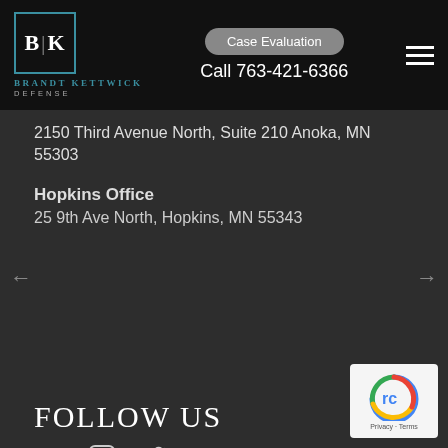Brandt Kettwick Defense | Case Evaluation | Call 763-421-6366
2150 Third Avenue North, Suite 210 Anoka, MN 55303
Hopkins Office
25 9th Ave North, Hopkins, MN 55343
FOLLOW US
[Figure (other): Social media icons: Facebook, Instagram, Twitter]
[Figure (other): reCAPTCHA badge with Privacy and Terms links]